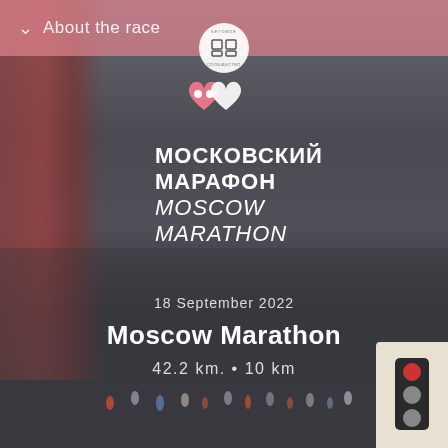[Figure (photo): Moscow Marathon race event page screenshot showing runners on Moscow embankment near the Kremlin tower, with marathon branding overlay]
About the race
МОСКОВСКИЙ МАРАФОН MOSCOW MARATHON
18 September 2022
Moscow Marathon
42.2 km. • 10 km